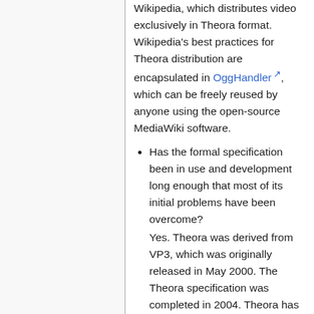Wikipedia, which distributes video exclusively in Theora format. Wikipedia's best practices for Theora distribution are encapsulated in OggHandler, which can be freely reused by anyone using the open-source MediaWiki software.
Has the formal specification been in use and development long enough that most of its initial problems have been overcome?
Yes. Theora was derived from VP3, which was originally released in May 2000. The Theora specification was completed in 2004. Theora has now been used in a wide variety of applications, on the full spectrum of computing devices.
Is the underlying technology of the standard well-understood? (e.g., a